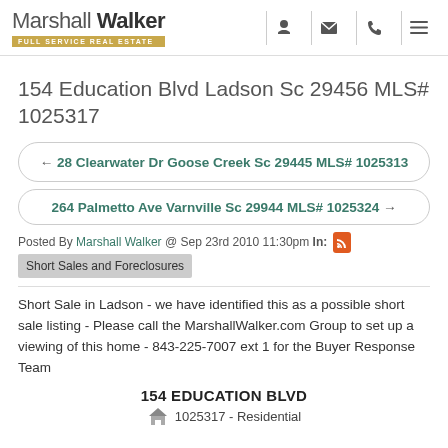Marshall Walker FULL SERVICE REAL ESTATE
154 Education Blvd Ladson Sc 29456 MLS# 1025317
← 28 Clearwater Dr Goose Creek Sc 29445 MLS# 1025313
264 Palmetto Ave Varnville Sc 29944 MLS# 1025324 →
Posted By Marshall Walker @ Sep 23rd 2010 11:30pm In: Short Sales and Foreclosures
Short Sale in Ladson - we have identified this as a possible short sale listing - Please call the MarshallWalker.com Group to set up a viewing of this home - 843-225-7007 ext 1 for the Buyer Response Team
154 EDUCATION BLVD
1025317 - Residential